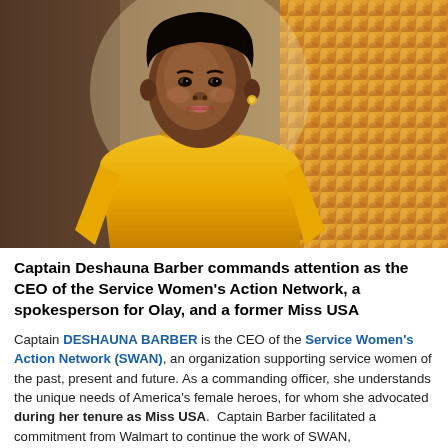[Figure (photo): Portrait photograph of Captain Deshauna Barber, a Black woman wearing a yellow dress, smiling, with a woven decorative background behind her.]
Captain Deshauna Barber commands attention as the CEO of the Service Women's Action Network, a spokesperson for Olay, and a former Miss USA
Captain DESHAUNA BARBER is the CEO of the Service Women's Action Network (SWAN), an organization supporting service women of the past, present and future. As a commanding officer, she understands the unique needs of America's female heroes, for whom she advocated during her tenure as Miss USA.  Captain Barber facilitated a commitment from Walmart to continue the work of SWAN,